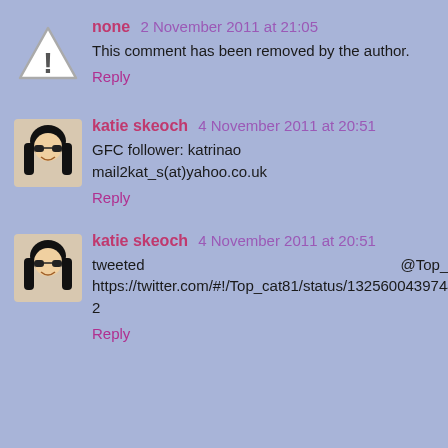[Figure (illustration): Warning icon: triangle with exclamation mark]
none 2 November 2011 at 21:05
This comment has been removed by the author.
Reply
[Figure (illustration): Avatar: cartoon girl with sunglasses]
katie skeoch 4 November 2011 at 20:51
GFC follower: katrinao
mail2kat_s(at)yahoo.co.uk
Reply
[Figure (illustration): Avatar: cartoon girl with sunglasses]
katie skeoch 4 November 2011 at 20:51
tweeted @Top_cat81
https://twitter.com/#!/Top_cat81/status/132560043974471682
Reply